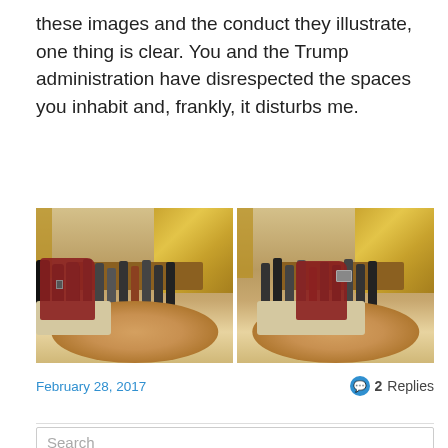these images and the conduct they illustrate, one thing is clear. You and the Trump administration have disrespected the spaces you inhabit and, frankly, it disturbs me.
[Figure (photo): Two side-by-side photographs of the Oval Office showing a group of men in suits standing while a woman in a dark red dress kneels on a couch taking a photo with her phone.]
February 28, 2017
2 Replies